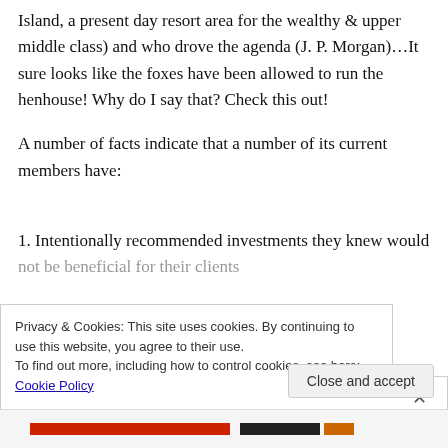Island, a present day resort area for the wealthy & upper middle class) and who drove the agenda (J. P. Morgan)…It sure looks like the foxes have been allowed to run the henhouse! Why do I say that? Check this out!
A number of facts indicate that a number of its current members have:
1. Intentionally recommended investments they knew would not be beneficial for their clients
Privacy & Cookies: This site uses cookies. By continuing to use this website, you agree to their use. To find out more, including how to control cookies, see here: Cookie Policy
Close and accept